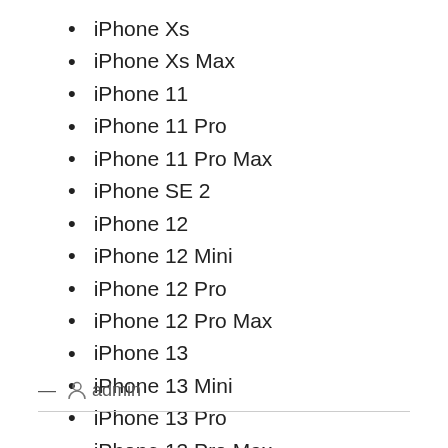iPhone Xs
iPhone Xs Max
iPhone 11
iPhone 11 Pro
iPhone 11 Pro Max
iPhone SE 2
iPhone 12
iPhone 12 Mini
iPhone 12 Pro
iPhone 12 Pro Max
iPhone 13
iPhone 13 Mini
iPhone 13 Pro
iPhone 13 Pro Max
— admin